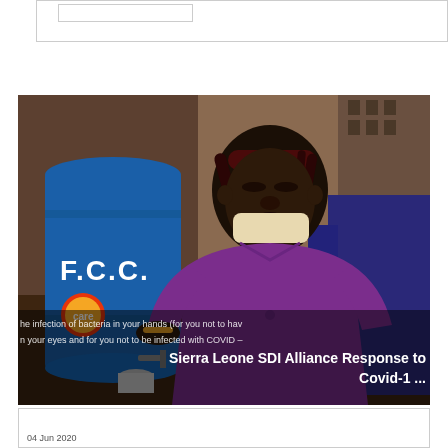[Figure (screenshot): Top portion of a webpage showing a rectangular bordered box with an inner smaller bordered element, partially cut off at the top]
[Figure (photo): A woman wearing a purple scrub top and a white face mask pulled down below her nose stands next to a blue water barrel labeled 'F.C.C.' with a CARE logo on it. Background shows a building exterior. Subtitle text overlaid reads: 'he infection of bacteria in your hands (for you not to hav' and 'n your eyes and for you not to be infected with COVID –'. Bold overlay title reads: 'Sierra Leone SDI Alliance Response to Covid-1 ...']
04 Jun 2020